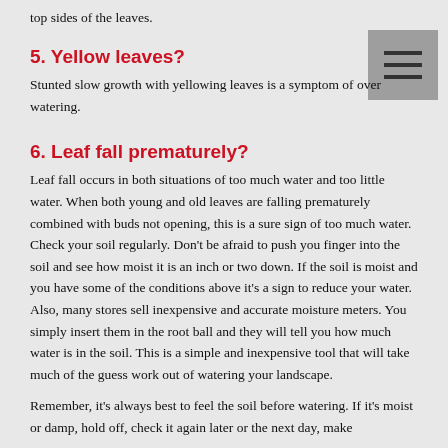top sides of the leaves.
5. Yellow leaves?
Stunted slow growth with yellowing leaves is a symptom of over watering.
6. Leaf fall prematurely?
Leaf fall occurs in both situations of too much water and too little water. When both young and old leaves are falling prematurely combined with buds not opening, this is a sure sign of too much water. Check your soil regularly. Don't be afraid to push you finger into the soil and see how moist it is an inch or two down. If the soil is moist and you have some of the conditions above it's a sign to reduce your water. Also, many stores sell inexpensive and accurate moisture meters. You simply insert them in the root ball and they will tell you how much water is in the soil. This is a simple and inexpensive tool that will take much of the guess work out of watering your landscape.
Remember, it's always best to feel the soil before watering. If it's moist or damp, hold off, check it again later or the next day, make